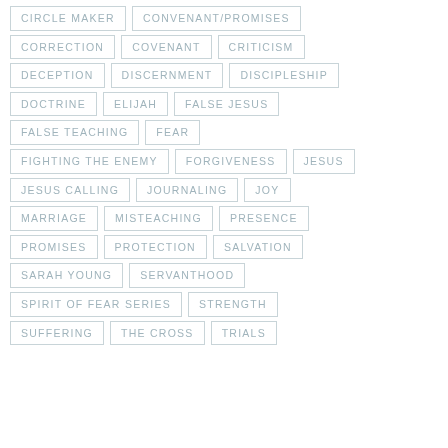CIRCLE MAKER
CONVENANT/PROMISES
CORRECTION
COVENANT
CRITICISM
DECEPTION
DISCERNMENT
DISCIPLESHIP
DOCTRINE
ELIJAH
FALSE JESUS
FALSE TEACHING
FEAR
FIGHTING THE ENEMY
FORGIVENESS
JESUS
JESUS CALLING
JOURNALING
JOY
MARRIAGE
MISTEACHING
PRESENCE
PROMISES
PROTECTION
SALVATION
SARAH YOUNG
SERVANTHOOD
SPIRIT OF FEAR SERIES
STRENGTH
SUFFERING
THE CROSS
TRIALS